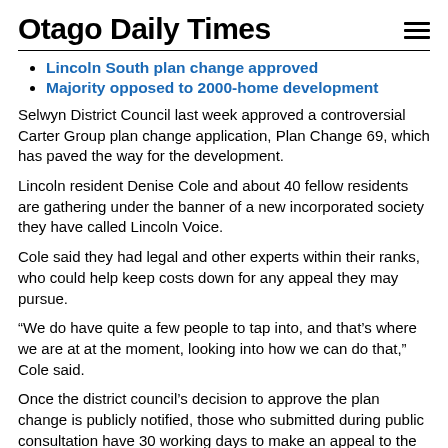Otago Daily Times
Lincoln South plan change approved
Majority opposed to 2000-home development
Selwyn District Council last week approved a controversial Carter Group plan change application, Plan Change 69, which has paved the way for the development.
Lincoln resident Denise Cole and about 40 fellow residents are gathering under the banner of a new incorporated society they have called Lincoln Voice.
Cole said they had legal and other experts within their ranks, who could help keep costs down for any appeal they may pursue.
“We do have quite a few people to tap into, and that’s where we are at at the moment, looking into how we can do that,” Cole said.
Once the district council’s decision to approve the plan change is publicly notified, those who submitted during public consultation have 30 working days to make an appeal to the Environment Court.